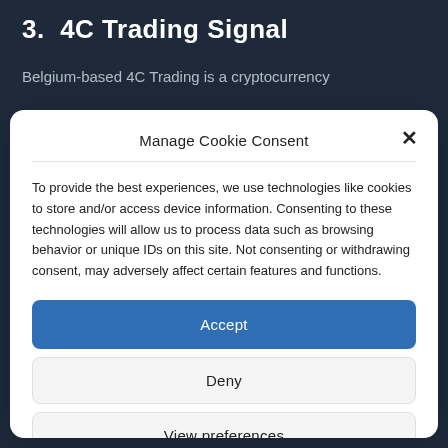3.  4C Trading Signal
Belgium-based 4C Trading is a cryptocurrency
Manage Cookie Consent
To provide the best experiences, we use technologies like cookies to store and/or access device information. Consenting to these technologies will allow us to process data such as browsing behavior or unique IDs on this site. Not consenting or withdrawing consent, may adversely affect certain features and functions.
Accept
Deny
View preferences
Cookie Policy  Privacy Statement